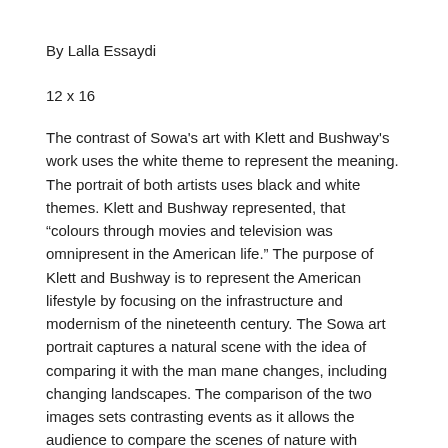By Lalla Essaydi
12 x 16
The contrast of Sowa's art with Klett and Bushway's work uses the white theme to represent the meaning. The portrait of both artists uses black and white themes. Klett and Bushway represented, that “colours through movies and television was omnipresent in the American life.” The purpose of Klett and Bushway is to represent the American lifestyle by focusing on the infrastructure and modernism of the nineteenth century. The Sowa art portrait captures a natural scene with the idea of comparing it with the man mane changes, including changing landscapes. The comparison of the two images sets contrasting events as it allows the audience to compare the scenes of nature with modernism.